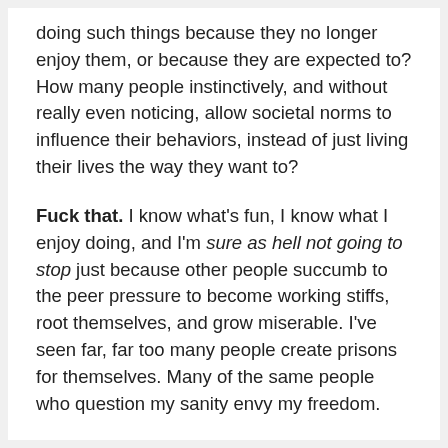doing such things because they no longer enjoy them, or because they are expected to? How many people instinctively, and without really even noticing, allow societal norms to influence their behaviors, instead of just living their lives the way they want to?
Fuck that. I know what's fun, I know what I enjoy doing, and I'm sure as hell not going to stop just because other people succumb to the peer pressure to become working stiffs, root themselves, and grow miserable. I've seen far, far too many people create prisons for themselves. Many of the same people who question my sanity envy my freedom.